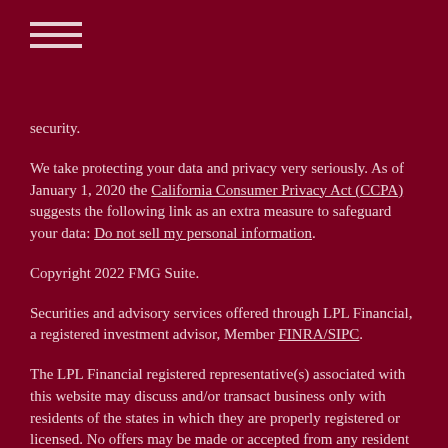≡ (hamburger menu icon)
security.
We take protecting your data and privacy very seriously. As of January 1, 2020 the California Consumer Privacy Act (CCPA) suggests the following link as an extra measure to safeguard your data: Do not sell my personal information.
Copyright 2022 FMG Suite.
Securities and advisory services offered through LPL Financial, a registered investment advisor, Member FINRA/SIPC.
The LPL Financial registered representative(s) associated with this website may discuss and/or transact business only with residents of the states in which they are properly registered or licensed. No offers may be made or accepted from any resident of any other state.